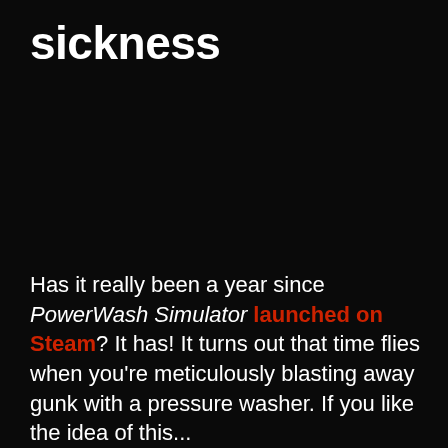sickness
Has it really been a year since PowerWash Simulator launched on Steam? It has! It turns out that time flies when you're meticulously blasting away gunk with a pressure washer. If you like the idea of this...